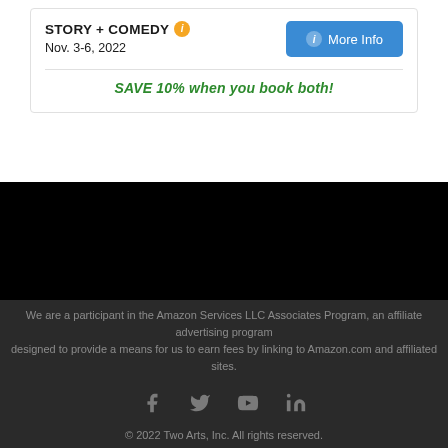STORY + COMEDY
Nov. 3-6, 2022
SAVE 10% when you book both!
We are a participant in the Amazon Services LLC Associates Program, an affiliate advertising program designed to provide a means for us to earn fees by linking to Amazon.com and affiliated sites.
© 2022 Two Arts, Inc. All rights reserved.